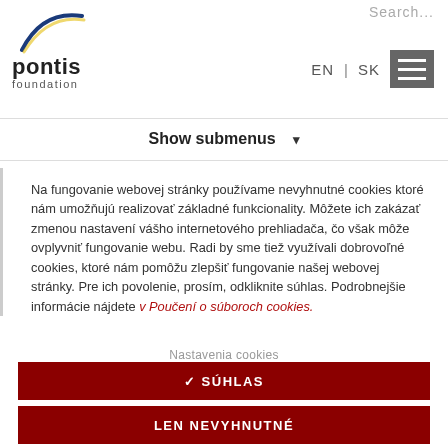Search... EN | SK [menu]
Show submenus ▾
Na fungovanie webovej stránky používame nevyhnutné cookies ktoré nám umožňujú realizovať základné funkcionality. Môžete ich zakázať zmenou nastavení vášho internetového prehliadača, čo však môže ovplyvniť fungovanie webu. Radi by sme tiež využívali dobrovoľné cookies, ktoré nám pomôžu zlepšiť fungovanie našej webovej stránky. Pre ich povolenie, prosím, odkliknite súhlas. Podrobnejšie informácie nájdete v Poučení o súboroch cookies.
Nastavenia cookies
✓ SÚHLAS
LEN NEVYHNUTNÉ